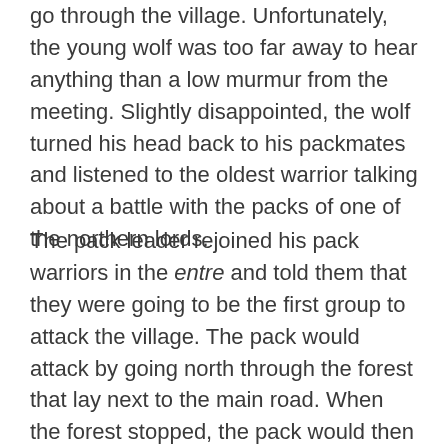go through the village. Unfortunately, the young wolf was too far away to hear anything than a low murmur from the meeting. Slightly disappointed, the wolf turned his head back to his packmates and listened to the oldest warrior talking about a battle with the packs of one of the northern lords.
The pack leader rejoined his pack warriors in the entre and told them that they were going to be the first group to attack the village. The pack would attack by going north through the forest that lay next to the main road. When the forest stopped, the pack would then launch a fast and savage attack on the village. The other packs would be hitting the village soon after from other directions. The pack leader gave each warrior a position and reminded them of the responsibility that the position entailed. He confirmed what he had told them on several earlier occasions by